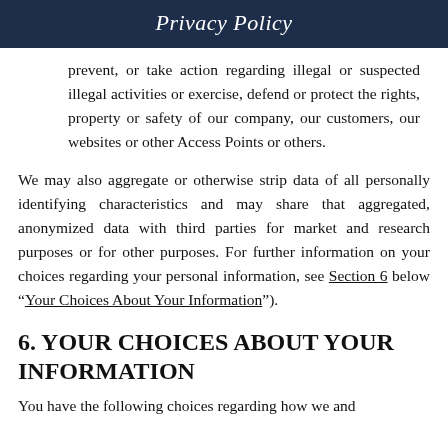Privacy Policy
prevent, or take action regarding illegal or suspected illegal activities or exercise, defend or protect the rights, property or safety of our company, our customers, our websites or other Access Points or others.
We may also aggregate or otherwise strip data of all personally identifying characteristics and may share that aggregated, anonymized data with third parties for market and research purposes or for other purposes. For further information on your choices regarding your personal information, see Section 6 below “Your Choices About Your Information”).
6. YOUR CHOICES ABOUT YOUR INFORMATION
You have the following choices regarding how we and